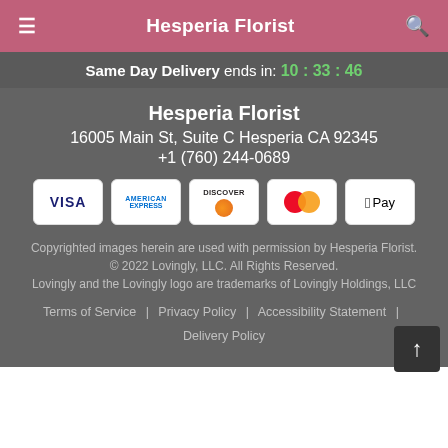Hesperia Florist
Same Day Delivery ends in: 10 : 33 : 46
Hesperia Florist
16005 Main St, Suite C Hesperia CA 92345
+1 (760) 244-0689
[Figure (infographic): Payment method icons: Visa, American Express, Discover, Mastercard, Apple Pay]
Copyrighted images herein are used with permission by Hesperia Florist.
© 2022 Lovingly, LLC. All Rights Reserved.
Lovingly and the Lovingly logo are trademarks of Lovingly Holdings, LLC
Terms of Service | Privacy Policy | Accessibility Statement | Delivery Policy